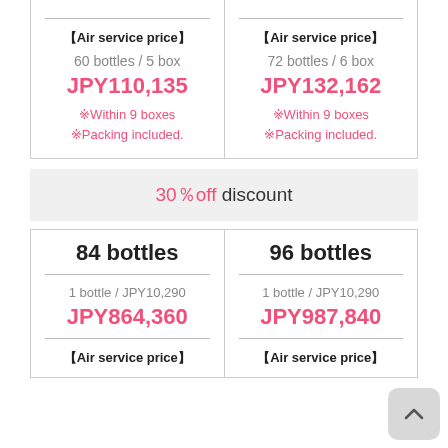|  | 60 bottles / 5 box | 72 bottles / 6 box |
| --- | --- | --- |
| Air service price | JPY110,135 | JPY132,162 |
| Note | ※Within 9 boxes ※Packing included. | ※Within 9 boxes ※Packing included. |
30％off discount
| 84 bottles | 96 bottles |
| --- | --- |
| 1 bottle / JPY10,290 | 1 bottle / JPY10,290 |
| JPY864,360 | JPY987,840 |
| 【Air service price】 | 【Air service price】 |